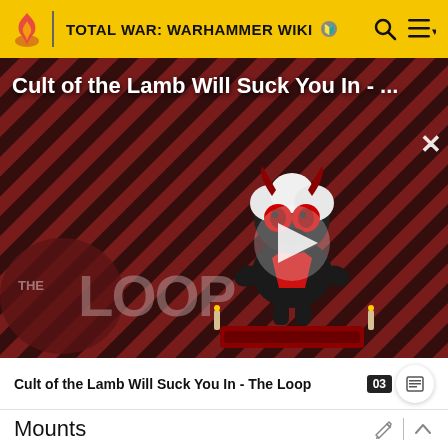TOTAL WAR: WARHAMMER WIKI
[Figure (screenshot): Video thumbnail showing Cult of the Lamb character on diagonal striped red/dark background with THE LOOP watermark and play button overlay. Title reads: Cult of the Lamb Will Suck You In - ...]
Cult of the Lamb Will Suck You In - The Loop
Mounts